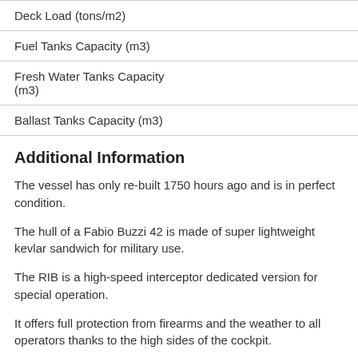| Deck Load (tons/m2) |
| Fuel Tanks Capacity (m3) |
| Fresh Water Tanks Capacity (m3) |
| Ballast Tanks Capacity (m3) |
Additional Information
The vessel has only re-built 1750 hours ago and is in perfect condition.
The hull of a Fabio Buzzi 42 is made of super lightweight kevlar sandwich for military use.
The RIB is a high-speed interceptor dedicated version for special operation.
It offers full protection from firearms and the weather to all operators thanks to the high sides of the cockpit.
A dry cabin for storage is easily accessible from the